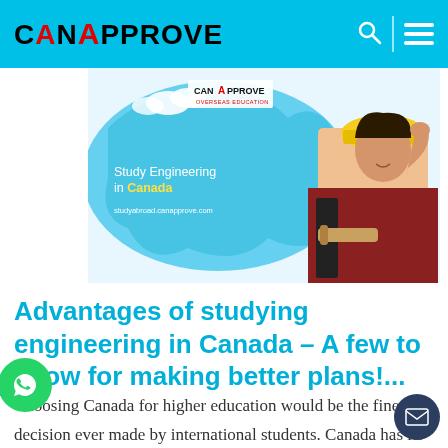CanApprove
[Figure (photo): Hero banner image: Study Engineering in Canada promotional graphic with CanApprove logo, blue map of Canada shape, text 'Study Engineering in Canada' and URL 'studyabroad.canapprove.com', with a young woman wearing a yellow hard hat and holding blueprints on the right side.]
Advantages of studying engineering in Canada – A few to know for making better plans!...
Choosing Canada for higher education would be the finest decision ever made by international students. Canada has its own qualities and